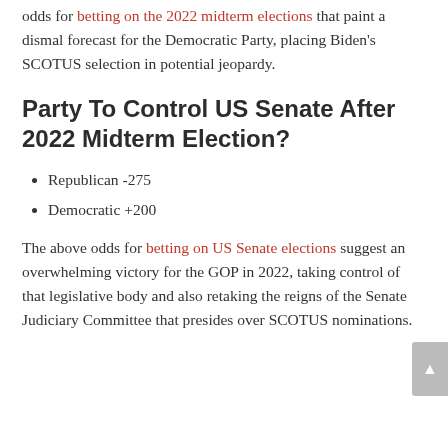odds for betting on the 2022 midterm elections that paint a dismal forecast for the Democratic Party, placing Biden's SCOTUS selection in potential jeopardy.
Party To Control US Senate After 2022 Midterm Election?
Republican -275
Democratic +200
The above odds for betting on US Senate elections suggest an overwhelming victory for the GOP in 2022, taking control of that legislative body and also retaking the reigns of the Senate Judiciary Committee that presides over SCOTUS nominations.